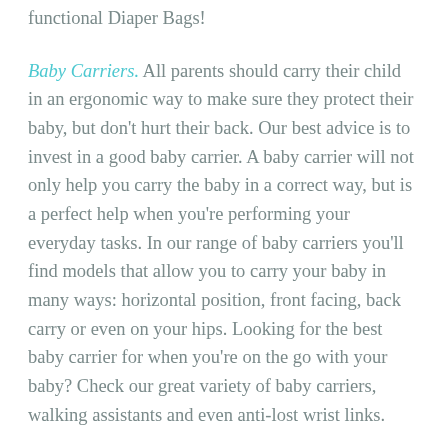functional Diaper Bags!
Baby Carriers. All parents should carry their child in an ergonomic way to make sure they protect their baby, but don’t hurt their back. Our best advice is to invest in a good baby carrier. A baby carrier will not only help you carry the baby in a correct way, but is a perfect help when you’re performing your everyday tasks. In our range of baby carriers you’ll find models that allow you to carry your baby in many ways: horizontal position, front facing, back carry or even on your hips. Looking for the best baby carrier for when you’re on the go with your baby? Check our great variety of baby carriers, walking assistants and even anti-lost wrist links.